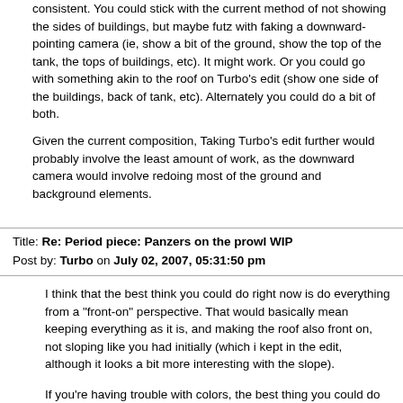consistent. You could stick with the current method of not showing the sides of buildings, but maybe futz with faking a downward-pointing camera (ie, show a bit of the ground, show the top of the tank, the tops of buildings, etc). It might work. Or you could go with something akin to the roof on Turbo's edit (show one side of the buildings, back of tank, etc). Alternately you could do a bit of both.
Given the current composition, Taking Turbo's edit further would probably involve the least amount of work, as the downward camera would involve redoing most of the ground and background elements.
Title: Re: Period piece: Panzers on the prowl WIP
Post by: Turbo on July 02, 2007, 05:31:50 pm
I think that the best think you could do right now is do everything from a "front-on" perspective. That would basically mean keeping everything as it is, and making the roof also front on, not sloping like you had initially (which i kept in the edit, although it looks a bit more interesting with the slope).
If you're having trouble with colors, the best thing you could do is look at photos of buildings of the epoch (those that have been preserved), or at movies and games that have an ambiance that you like. I recommend you do this also for the anatomy of the soldiers, how clothing fits the body, etc. Also, take a look at studying some basic anatomy and human proportions, you'll see your work benefit greatly from this.